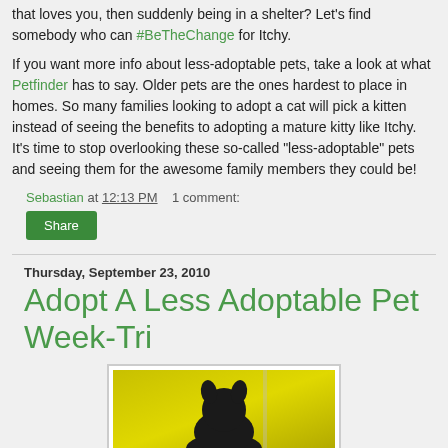that loves you, then suddenly being in a shelter? Let's find somebody who can #BeTheChange for Itchy.
If you want more info about less-adoptable pets, take a look at what Petfinder has to say. Older pets are the ones hardest to place in homes. So many families looking to adopt a cat will pick a kitten instead of seeing the benefits to adopting a mature kitty like Itchy. It's time to stop overlooking these so-called "less-adoptable" pets and seeing them for the awesome family members they could be!
Sebastian at 12:13 PM   1 comment:
Share
Thursday, September 23, 2010
Adopt A Less Adoptable Pet Week-Tri
[Figure (photo): Photo of a dark-colored dog or cat against a yellow/green background]